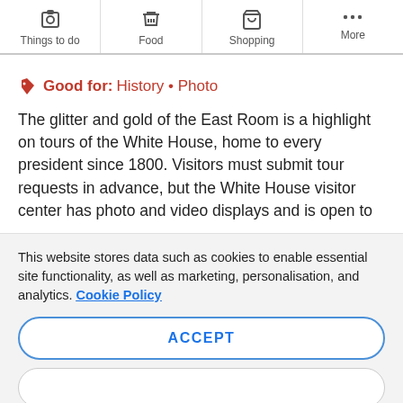Things to do | Food | Shopping | More
Good for: History • Photo
The glitter and gold of the East Room is a highlight on tours of the White House, home to every president since 1800. Visitors must submit tour requests in advance, but the White House visitor center has photo and video displays and is open to
This website stores data such as cookies to enable essential site functionality, as well as marketing, personalisation, and analytics. Cookie Policy
ACCEPT